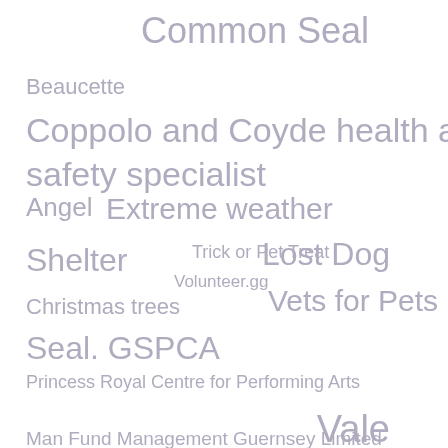Common Seal
Beaucette
Coppolo and Coyde health and safety specialist
Angel
Extreme weather
Shelter
Trick or Pet Treat
Lost Dog
Volunteer.gg
Christmas trees
Vets for Pets
Seal. GSPCA
Princess Royal Centre for Performing Arts
Vale
Man Fund Management Guernsey Limited
Guernsey Bingo
Purple Poppies
Volunteer Induction
Consultation Paper
Channel Islands
facemasks
Sponsored Walk
Tropical Fish